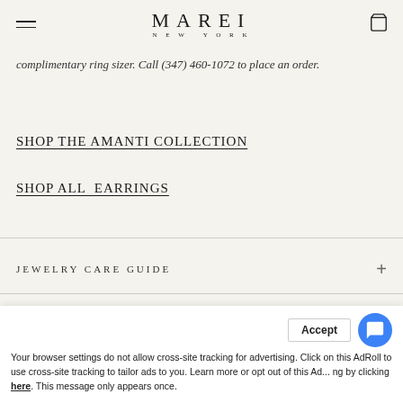MAREI NEW YORK
complimentary ring sizer. Call (347) 460-1072 to place an order.
SHOP THE AMANTI COLLECTION
SHOP ALL  EARRINGS
JEWELRY CARE GUIDE
SHIPPING, RETURNS, & STORE POLICY
Your browser settings do not allow cross-site tracking for advertising. Click on this AdRoll to use cross-site tracking to tailor ads to you. Learn more or opt out of this Ad... ng by clicking here. This message only appears once.